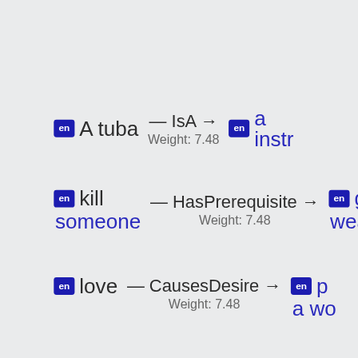[Figure (network-graph): Three knowledge graph triples shown as node-relation-node diagrams. Row 1: [en] A tuba -- IsA --> [en] a instr... (Weight: 7.48). Row 2: [en] kill someone -- HasPrerequisite --> [en] ge... weap... (Weight: 7.48). Row 3: [en] love -- CausesDesire --> [en] p... a wo... (Weight: 7.48). Nodes shown as blue 'en' badge followed by text. Relations shown with dashes, label, and arrow. Each relation has Weight: 7.48 below it.]